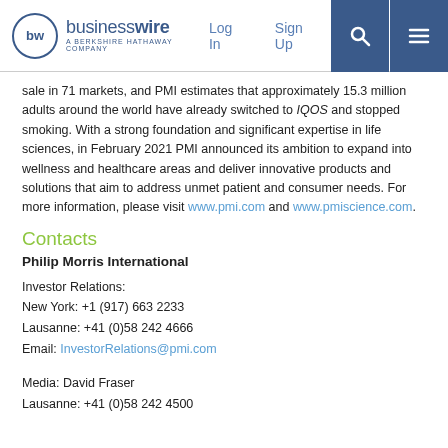businesswire — A BERKSHIRE HATHAWAY COMPANY | Log In | Sign Up
sale in 71 markets, and PMI estimates that approximately 15.3 million adults around the world have already switched to IQOS and stopped smoking. With a strong foundation and significant expertise in life sciences, in February 2021 PMI announced its ambition to expand into wellness and healthcare areas and deliver innovative products and solutions that aim to address unmet patient and consumer needs. For more information, please visit www.pmi.com and www.pmiscience.com.
Contacts
Philip Morris International
Investor Relations:
New York: +1 (917) 663 2233
Lausanne: +41 (0)58 242 4666
Email: InvestorRelations@pmi.com
Media: David Fraser
Lausanne: +41 (0)58 242 4500